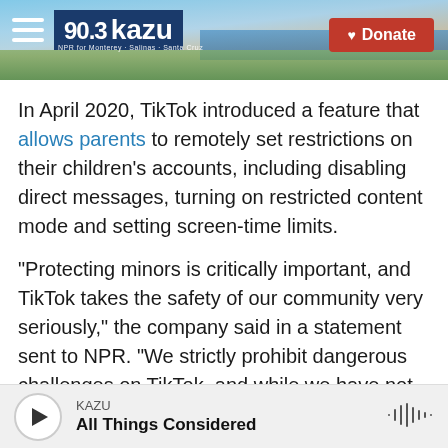[Figure (screenshot): KAZU 90.3 radio station header with landscape background photo showing ocean and hills, hamburger menu icon on left, KAZU logo in dark blue box, and red Donate button on right]
In April 2020, TikTok introduced a feature that allows parents to remotely set restrictions on their children's accounts, including disabling direct messages, turning on restricted content mode and setting screen-time limits.
"Protecting minors is critically important, and TikTok takes the safety of our community very seriously," the company said in a statement sent to NPR. "We strictly prohibit dangerous challenges on TikTok, and while we have not yet found evidence of a 'blackout challenge', we remain alert and ready to act against any violative content posted."
KAZU
All Things Considered